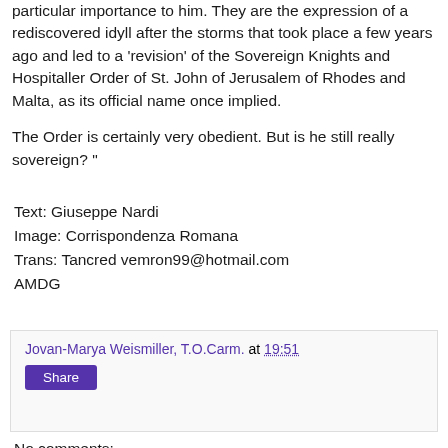particular importance to him. They are the expression of a rediscovered idyll after the storms that took place a few years ago and led to a 'revision' of the Sovereign Knights and Hospitaller Order of St. John of Jerusalem of Rhodes and Malta, as its official name once implied.

The Order is certainly very obedient. But is he still really sovereign? "
Text: Giuseppe Nardi
Image: Corrispondenza Romana
Trans: Tancred vemron99@hotmail.com
AMDG
Jovan-Marya Weismiller, T.O.Carm. at 19:51
Share
No comments: